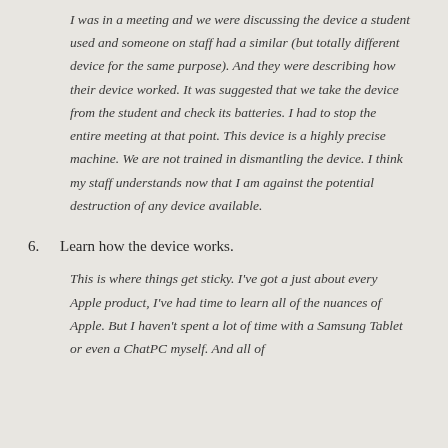I was in a meeting and we were discussing the device a student used and someone on staff had a similar (but totally different device for the same purpose). And they were describing how their device worked. It was suggested that we take the device from the student and check its batteries. I had to stop the entire meeting at that point. This device is a highly precise machine. We are not trained in dismantling the device. I think my staff understands now that I am against the potential destruction of any device available.
6. Learn how the device works.
This is where things get sticky. I've got a just about every Apple product, I've had time to learn all of the nuances of Apple. But I haven't spent a lot of time with a Samsung Tablet or even a ChatPC myself. And all of